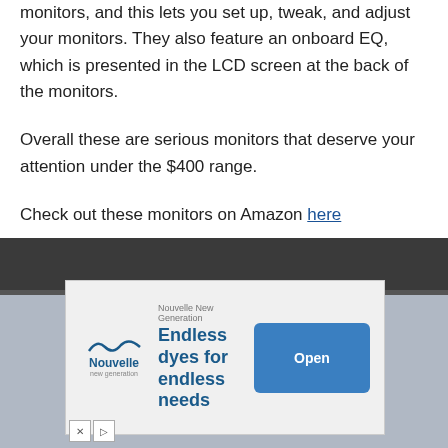monitors, and this lets you set up, tweak, and adjust your monitors. They also feature an onboard EQ, which is presented in the LCD screen at the back of the monitors.
Overall these are serious monitors that deserve your attention under the $400 range.
Check out these monitors on Amazon here
[Figure (screenshot): Advertisement overlay on top of a monitor product image. The ad is from Nouvelle New Generation showing 'Endless dyes for endless needs' with an Open button.]